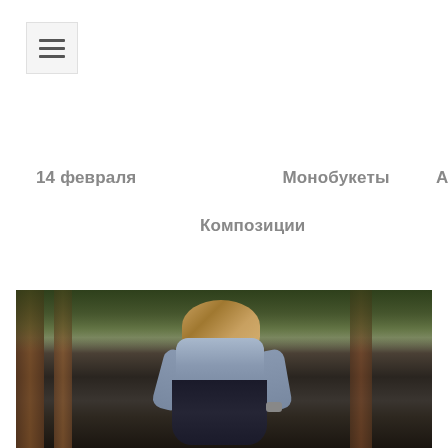[Figure (screenshot): Hamburger menu button icon — three horizontal lines in a light gray rounded square]
14 февраля
Монобукеты
Авторские
Композиции
[Figure (photo): Woman crouching outdoors among trees, wearing a light blue shirt and dark pants, with long wavy hair, in a forest setting]